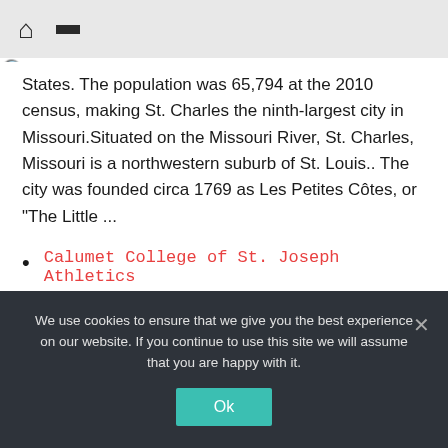Navigation bar with home icon, menu icon, and search button
States. The population was 65,794 at the 2010 census, making St. Charles the ninth-largest city in Missouri.Situated on the Missouri River, St. Charles, Missouri is a northwestern suburb of St. Louis.. The city was founded circa 1769 as Les Petites Côtes, or "The Little ...
Calumet College of St. Joseph Athletics
Holiday Inn Express Tip-Off Classic hosted by Clarke University. Nov 01 | Final. Men's Basketball
We use cookies to ensure that we give you the best experience on our website. If you continue to use this site we will assume that you are happy with it.